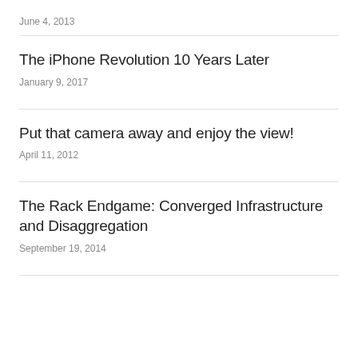June 4, 2013
The iPhone Revolution 10 Years Later
January 9, 2017
Put that camera away and enjoy the view!
April 11, 2012
The Rack Endgame: Converged Infrastructure and Disaggregation
September 19, 2014